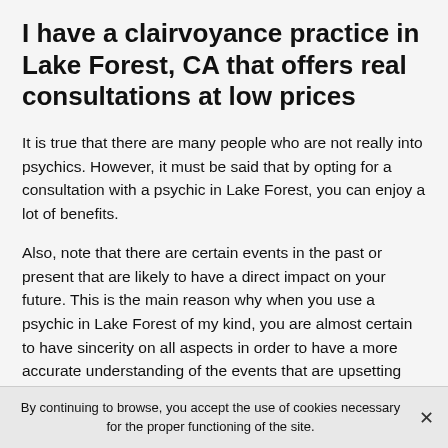I have a clairvoyance practice in Lake Forest, CA that offers real consultations at low prices
It is true that there are many people who are not really into psychics. However, it must be said that by opting for a consultation with a psychic in Lake Forest, you can enjoy a lot of benefits.
Also, note that there are certain events in the past or present that are likely to have a direct impact on your future. This is the main reason why when you use a psychic in Lake Forest of my kind, you are almost certain to have sincerity on all aspects in order to have a more accurate understanding of the events that are upsetting you.
By continuing to browse, you accept the use of cookies necessary for the proper functioning of the site.